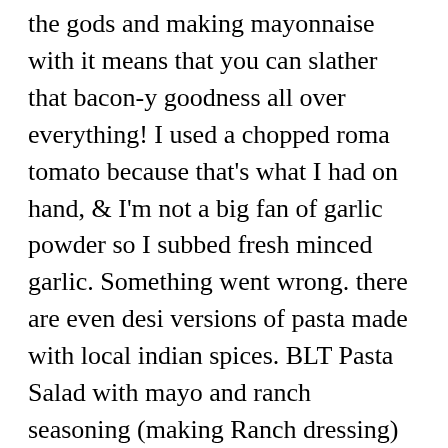the gods and making mayonnaise with it means that you can slather that bacon-y goodness all over everything! I used a chopped roma tomato because that's what I had on hand, & I'm not a big fan of garlic powder so I subbed fresh minced garlic. Something went wrong. there are even desi versions of pasta made with local indian spices. BLT Pasta Salad with mayo and ranch seasoning (making Ranch dressing) is the one salad that needs to make it to your BBQ picnics this year. Toss to combine; Add more dressing as needed In a large bowl, mix mayonnaise, Ranch dressing mix, garlic granules and garlic pepper. Så her valgte jeg den nemme løsning. They are my favorite. Very, very good pasta salad! ... prepared bacon mayo